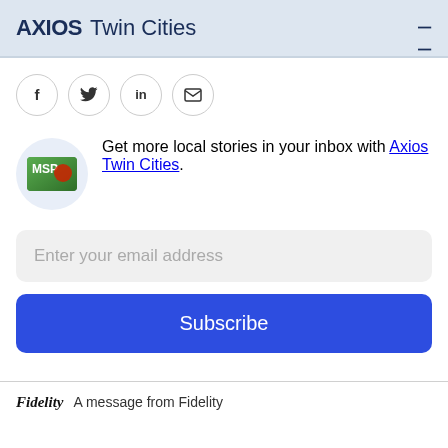AXIOS Twin Cities
[Figure (other): Social share icons: Facebook (f), Twitter (bird), LinkedIn (in), Email (envelope)]
Get more local stories in your inbox with Axios Twin Cities.
Enter your email address
Subscribe
Fidelity  A message from Fidelity